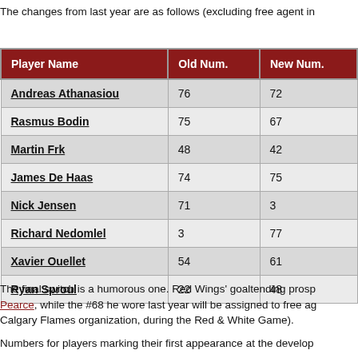The changes from last year are as follows (excluding free agent in
| Player Name | Old Num. | New Num. |
| --- | --- | --- |
| Andreas Athanasiou | 76 | 72 |
| Rasmus Bodin | 75 | 67 |
| Martin Frk | 48 | 42 |
| James De Haas | 74 | 75 |
| Nick Jensen | 71 | 3 |
| Richard Nedomlel | 3 | 77 |
| Xavier Ouellet | 54 | 61 |
| Ryan Sproul | 22 | 48 |
The final switch is a humorous one. Red Wings' goaltending prosp Pearce, while the #68 he wore last year will be assigned to free a Calgary Flames organization, during the Red & White Game).
Numbers for players marking their first appearance at the develop